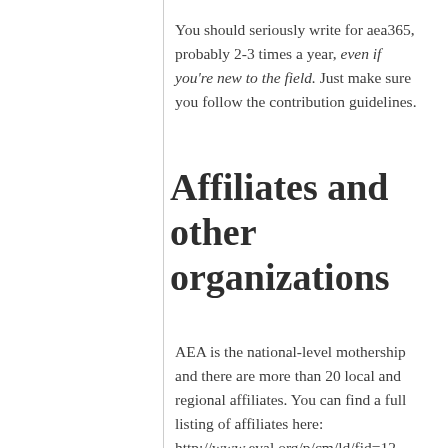You should seriously write for aea365, probably 2-3 times a year, even if you're new to the field. Just make sure you follow the contribution guidelines.
Affiliates and other organizations
AEA is the national-level mothership and there are more than 20 local and regional affiliates. You can find a full listing of affiliates here: http://www.eval.org/p/cm/ld/fid=12. Every affiliate is different. For example, the